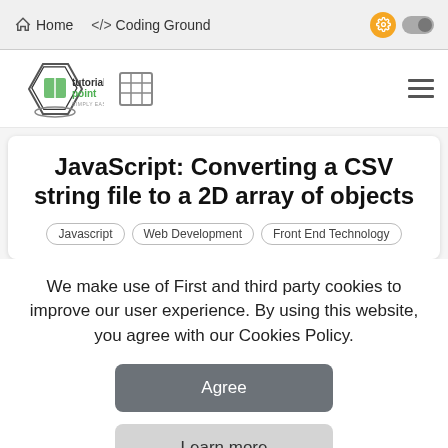Home   </> Coding Ground
[Figure (logo): Tutorialspoint logo with diamond shape and text 'tutorialspoint SIMPLY EASY LEARNING', plus grid/table icon and hamburger menu]
JavaScript: Converting a CSV string file to a 2D array of objects
Javascript
Web Development
Front End Technology
We make use of First and third party cookies to improve our user experience. By using this website, you agree with our Cookies Policy.
Agree
Learn more